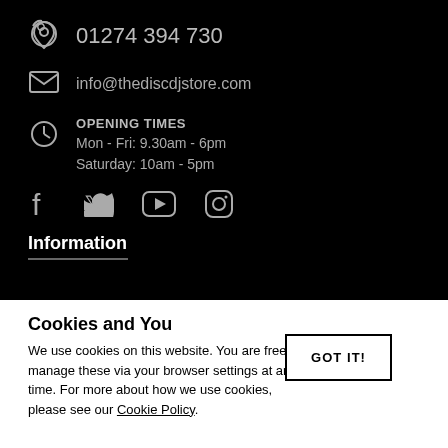01274 394 730
info@thediscdjstore.com
OPENING TIMES
Mon - Fri: 9.30am - 6pm
Saturday: 10am - 5pm
[Figure (illustration): Social media icons: Facebook, Twitter, YouTube, Instagram]
Information
Cookies and You
GOT IT!
We use cookies on this website. You are free to manage these via your browser settings at any time. For more about how we use cookies, please see our Cookie Policy.